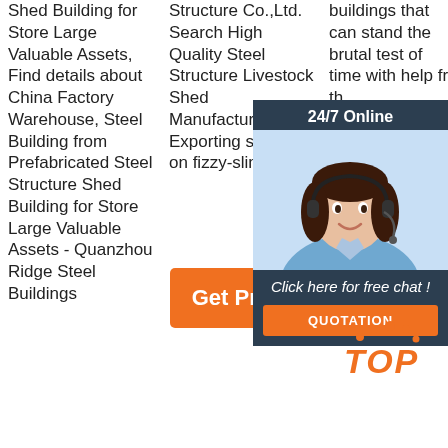Shed Building for Store Large Valuable Assets, Find details about China Factory Warehouse, Steel Building from Prefabricated Steel Structure Shed Building for Store Large Valuable Assets - Quanzhou Ridge Steel Buildings
Structure Co.,Ltd. Search High Quality Steel Structure Livestock Shed Manufacturing and Exporting supplier on fizzy-slim.top.
Get Price
[Figure (infographic): 24/7 Online chat widget with a woman wearing a headset, a 'Click here for free chat!' message, and an orange QUOTATION button]
buildings that can stand the brutal test of time with help fr... th... st... C... sh... p... b... of... recognized builders are perfect for multpilermultiple applications,